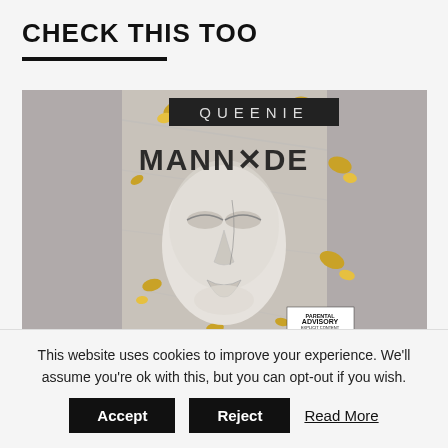CHECK THIS TOO
[Figure (illustration): Album cover for QUEENIE - MANNMADE. Features a white/silver mask of a face with closed eyes set against a gray background with gold leaf accents. Text at top reads QUEENIE in a dark banner, and MANNMADE in large stylized font below. Parental advisory label visible at bottom right.]
This website uses cookies to improve your experience. We'll assume you're ok with this, but you can opt-out if you wish.
Accept   Reject   Read More